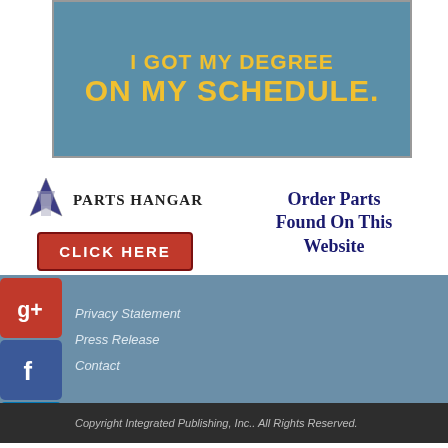[Figure (illustration): Blue banner advertisement with yellow bold text reading 'I GOT MY DEGREE ON MY SCHEDULE.']
[Figure (logo): Parts Hangar logo with airplane icon and red CLICK HERE button, with text 'Order Parts Found On This Website' in dark blue serif font]
Privacy Statement
Press Release
Contact
Copyright Integrated Publishing, Inc.. All Rights Reserved.
Integrated Publishing, Inc. - A (SDVOSB) Service Disabled Veteran Owned Small Business